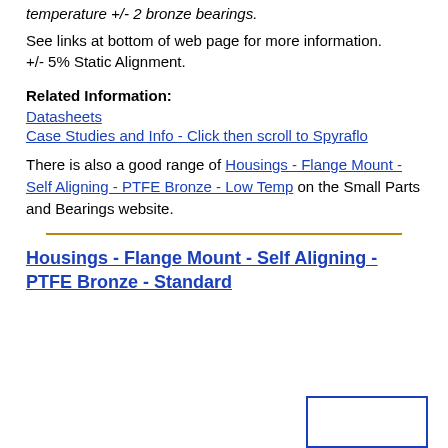temperature +/- 2 bronze bearings.
See links at bottom of web page for more information.
+/- 5% Static Alignment.
Related Information:
Datasheets
Case Studies and Info - Click then scroll to Spyraflo
There is also a good range of Housings - Flange Mount - Self Aligning - PTFE Bronze - Low Temp on the Small Parts and Bearings website.
Housings - Flange Mount - Self Aligning - PTFE Bronze - Standard
[Figure (photo): Product image of a flange mount self aligning bearing housing, partially visible in the bottom right corner with a blue border.]